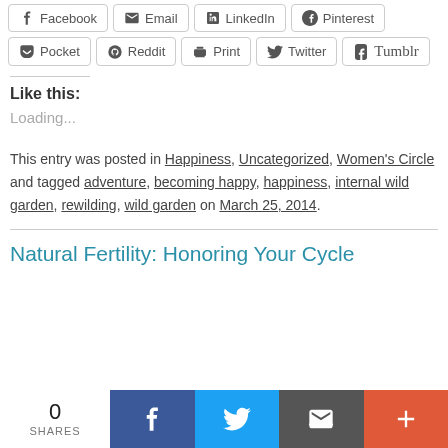Facebook Email LinkedIn Pinterest Pocket Reddit Print Twitter Tumblr
Like this:
Loading...
This entry was posted in Happiness, Uncategorized, Women's Circle and tagged adventure, becoming happy, happiness, internal wild garden, rewilding, wild garden on March 25, 2014.
Natural Fertility: Honoring Your Cycle
0 SHARES